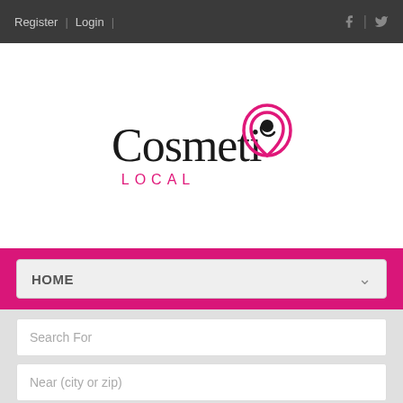Register | Login | f | (twitter icon)
[Figure (logo): CosmetiC Local logo — stylized black text 'CosmetiC' with a pink location pin icon replacing the 'o', and pink text 'LOCAL' below]
HOME
Search For
Near (city or zip)
Businesses